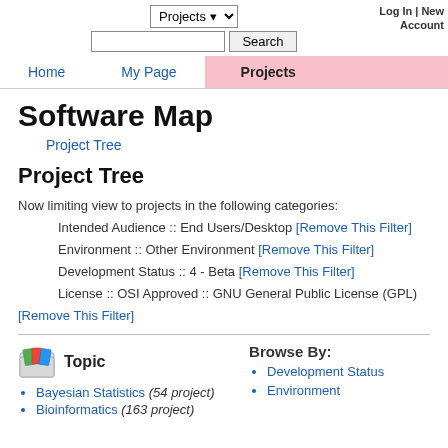Projects ▾  [search box]  Search  Log In | New Account
Home  My Page  Projects
Software Map
Project Tree
Project Tree
Now limiting view to projects in the following categories:
  Intended Audience :: End Users/Desktop [Remove This Filter]
  Environment :: Other Environment [Remove This Filter]
  Development Status :: 4 - Beta [Remove This Filter]
  License :: OSI Approved :: GNU General Public License (GPL) [Remove This Filter]
Topic
Bayesian Statistics (54 project)
Bioinformatics (163 project)
Browse By:
Development Status
Environment